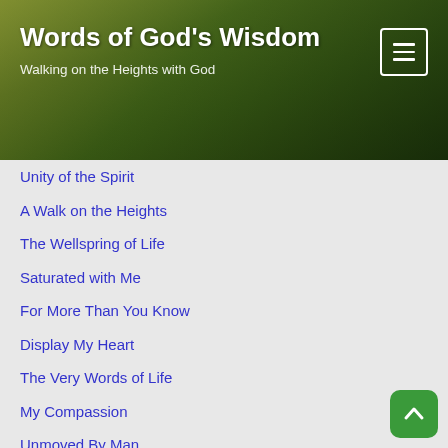Words of God's Wisdom
Walking on the Heights with God
Unity of the Spirit
A Walk on the Heights
The Wellspring of Life
Saturated with Me
For More Than You Know
Display My Heart
The Very Words of Life
My Compassion
Unmoved By Man
Do Not Shrink Back
A New Song
The Way I Have For You
Limitless Supply